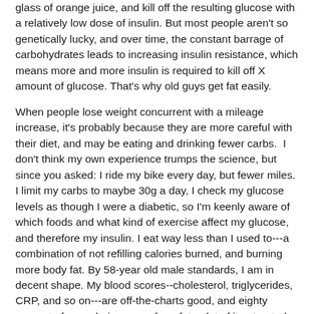glass of orange juice, and kill off the resulting glucose with a relatively low dose of insulin. But most people aren't so genetically lucky, and over time, the constant barrage of carbohydrates leads to increasing insulin resistance, which means more and more insulin is required to kill off X amount of glucose. That's why old guys get fat easily.
When people lose weight concurrent with a mileage increase, it's probably because they are more careful with their diet, and may be eating and drinking fewer carbs.  I don't think my own experience trumps the science, but since you asked: I ride my bike every day, but fewer miles. I limit my carbs to maybe 30g a day, I check my glucose levels as though I were a diabetic, so I'm keenly aware of which foods and what kind of exercise affect my glucose, and therefore my insulin. I eat way less than I used to---a combination of not refilling calories burned, and burning more body fat. By 58-year old male standards, I am in decent shape. My blood scores--cholesterol, triglycerides, CRP, and so on---are off-the-charts good, and eighty percent of my calories come from fat, a lot of it saturated.
Q:  Have your recommendations regarding the relative